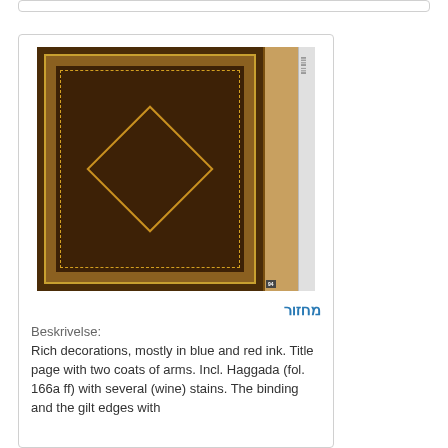[Figure (photo): Photo of an old book with dark brown leather cover featuring gold/tan diamond pattern decoration and a spine with ruler markings visible on the right side.]
מחזור
Beskrivelse:
Rich decorations, mostly in blue and red ink. Title page with two coats of arms. Incl. Haggada (fol. 166a ff) with several (wine) stains. The binding and the gilt edges with